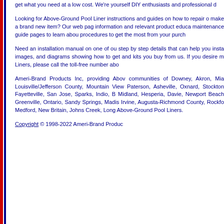get what you need at a low cost. We're yourself DIY enthusiasts and professional d...
Looking for Above-Ground Pool Liner instructions and guides on how to repair o make a brand new item? Our web pag information and relevant product educa maintenance guide pages to learn abou procedures to get the most from your purch
Need an installation manual on one of ou step by step details that can help you insta images, and diagrams showing how to get and kits you buy from us. If you desire m Liners, please call the toll-free number abo
Ameri-Brand Products Inc, providing Abov communities of Downey, Akron, Mia Louisville/Jefferson County, Mountain View Paterson, Asheville, Oxnard, Stockton Fayetteville, San Jose, Sparks, Indio, B Midland, Hesperia, Davie, Newport Beach Greenville, Ontario, Sandy Springs, Madis Irvine, Augusta-Richmond County, Rockfo Medford, New Britain, Johns Creek, Long Above-Ground Pool Liners.
Copyright © 1998-2022 Ameri-Brand Produc